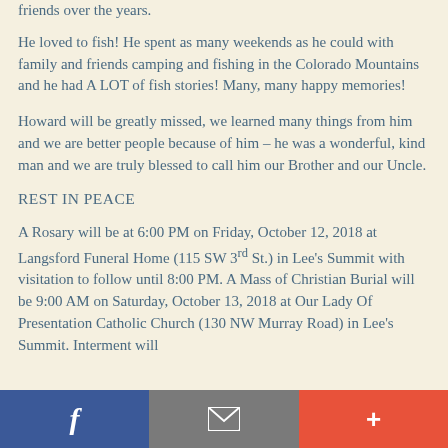friends over the years.
He loved to fish! He spent as many weekends as he could with family and friends camping and fishing in the Colorado Mountains and he had A LOT of fish stories! Many, many happy memories!
Howard will be greatly missed, we learned many things from him and we are better people because of him – he was a wonderful, kind man and we are truly blessed to call him our Brother and our Uncle.
REST IN PEACE
A Rosary will be at 6:00 PM on Friday, October 12, 2018 at Langsford Funeral Home (115 SW 3rd St.) in Lee's Summit with visitation to follow until 8:00 PM. A Mass of Christian Burial will be 9:00 AM on Saturday, October 13, 2018 at Our Lady Of Presentation Catholic Church (130 NW Murray Road) in Lee's Summit. Interment will